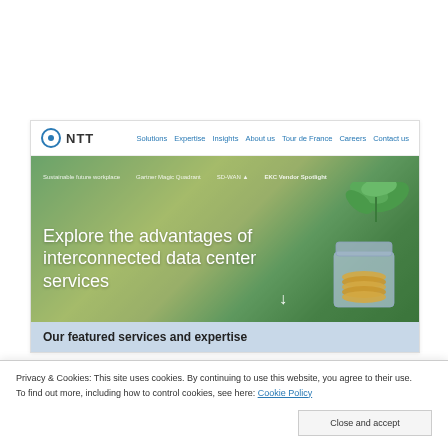[Figure (screenshot): NTT website screenshot showing navigation bar with logo and links: Solutions, Expertise, Insights, About us, Tour de France, Careers, Contact us]
[Figure (photo): Hero banner with green plant growing from coins in a jar on a green bokeh background, with text 'Explore the advantages of interconnected data center services' and navigation tabs above]
Our featured services and expertise
Privacy & Cookies: This site uses cookies. By continuing to use this website, you agree to their use. To find out more, including how to control cookies, see here: Cookie Policy
Close and accept